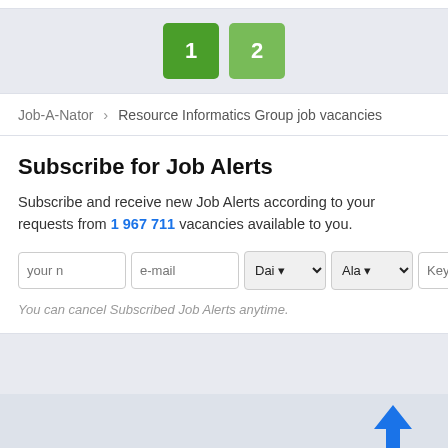[Figure (other): Pagination buttons showing page 1 (dark green) and page 2 (light green)]
Job-A-Nator › Resource Informatics Group job vacancies
Subscribe for Job Alerts
Subscribe and receive new Job Alerts according to your requests from 1 967 711 vacancies available to you.
[Figure (screenshot): Subscription form with fields: your name, e-mail, Daily dropdown, Alabama dropdown, Keywords, and subscribe button]
You can cancel Subscribed Job Alerts anytime.
[Figure (other): Blue upward arrow icon in bottom right corner]